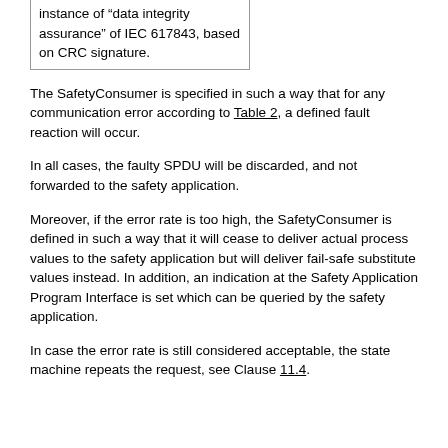| instance of “data integrity assurance” of IEC 617843, based on CRC signature. |
The SafetyConsumer is specified in such a way that for any communication error according to Table 2, a defined fault reaction will occur.
In all cases, the faulty SPDU will be discarded, and not forwarded to the safety application.
Moreover, if the error rate is too high, the SafetyConsumer is defined in such a way that it will cease to deliver actual process values to the safety application but will deliver fail-safe substitute values instead. In addition, an indication at the Safety Application Program Interface is set which can be queried by the safety application.
In case the error rate is still considered acceptable, the state machine repeats the request, see Clause 11.4.